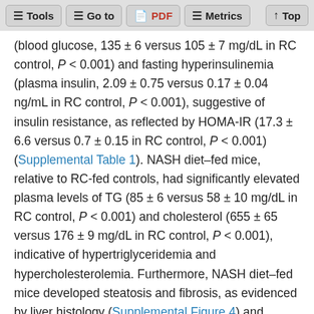Tools | Go to | PDF | Metrics | Top
(blood glucose, 135 ± 6 versus 105 ± 7 mg/dL in RC control, P < 0.001) and fasting hyperinsulinemia (plasma insulin, 2.09 ± 0.75 versus 0.17 ± 0.04 ng/mL in RC control, P < 0.001), suggestive of insulin resistance, as reflected by HOMA-IR (17.3 ± 6.6 versus 0.7 ± 0.15 in RC control, P < 0.001) (Supplemental Table 1). NASH diet–fed mice, relative to RC-fed controls, had significantly elevated plasma levels of TG (85 ± 6 versus 58 ± 10 mg/dL in RC control, P < 0.001) and cholesterol (655 ± 65 versus 176 ± 9 mg/dL in RC control, P < 0.001), indicative of hypertriglyceridemia and hypercholesterolemia. Furthermore, NASH diet–fed mice developed steatosis and fibrosis, as evidenced by liver histology (Supplemental Figure 4) and quantification of hepatic TG and cholesterol contents